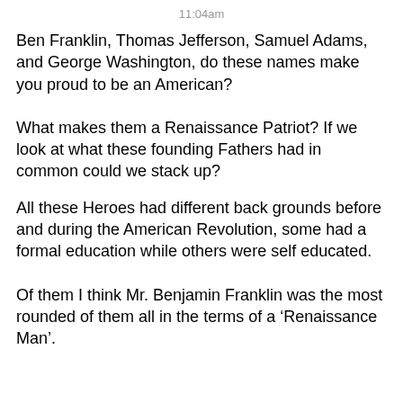11:04am
Ben Franklin, Thomas Jefferson, Samuel Adams, and George Washington, do these names make you proud to be an American?
What makes them a Renaissance Patriot? If we look at what these founding Fathers had in common could we stack up?
All these Heroes had different back grounds before and during the American Revolution, some had a formal education while others were self educated.
Of them I think Mr. Benjamin Franklin was the most rounded of them all in the terms of a ‘Renaissance Man’.